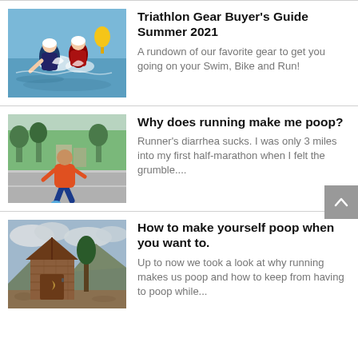[Figure (photo): Two triathletes running out of water during swim start, splashing, wearing wetsuits and white swim caps, yellow buoy in background]
Triathlon Gear Buyer's Guide Summer 2021
A rundown of our favorite gear to get you going on your Swim, Bike and Run!
[Figure (photo): Runner in orange shirt and blue shorts seen from behind, running on a road with trees and buildings in background]
Why does running make me poop?
Runner's diarrhea sucks. I was only 3 miles into my first half-marathon when I felt the grumble....
[Figure (photo): Rustic wooden outhouse/privy on a hilltop with mountains and cloudy sky in background]
How to make yourself poop when you want to.
Up to now we took a look at why running makes us poop and how to keep from having to poop while...